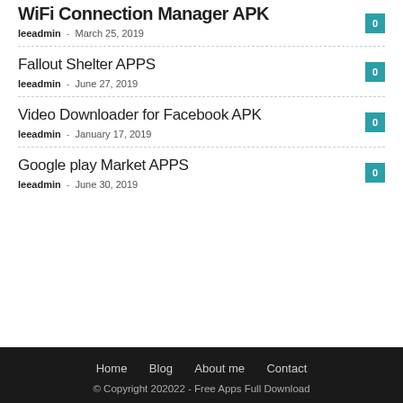WiFi Connection Manager APK
leeadmin - March 25, 2019  0
Fallout Shelter APPS
leeadmin - June 27, 2019  0
Video Downloader for Facebook APK
leeadmin - January 17, 2019  0
Google play Market APPS
leeadmin - June 30, 2019  0
Home  Blog  About me  Contact
© Copyright 202022 - Free Apps Full Download